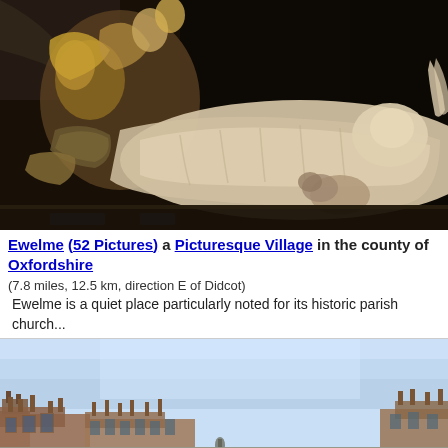[Figure (photo): Medieval stone effigy sculpture of a reclining figure in a church, with gilded decorative elements including a coat of arms and angelic figures. The sculpture appears to be a tomb monument with a recumbent figure in prayer position.]
Ewelme (52 Pictures) a Picturesque Village in the county of Oxfordshire
(7.8 miles, 12.5 km, direction E of Didcot)
Ewelme is a quiet place particularly noted for its historic parish church...
[Figure (photo): Street scene of a town with brick buildings under a clear blue sky, taken from street level.]